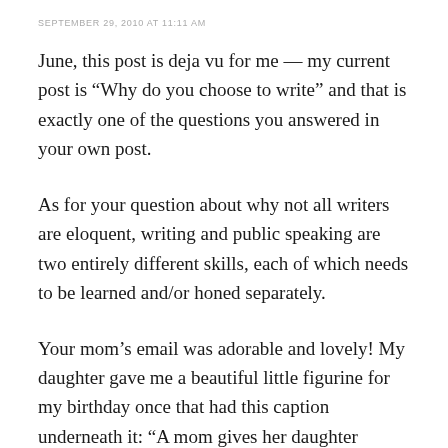SEPTEMBER 29, 2010 AT 11:11 AM
June, this post is deja vu for me — my current post is “Why do you choose to write” and that is exactly one of the questions you answered in your own post.
As for your question about why not all writers are eloquent, writing and public speaking are two entirely different skills, each of which needs to be learned and/or honed separately.
Your mom’s email was adorable and lovely! My daughter gave me a beautiful little figurine for my birthday once that had this caption underneath it: “A mom gives her daughter wisdom to keep her grounded and wings to help her soar”.